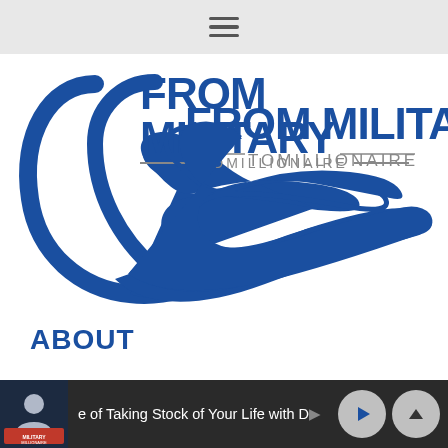≡ (hamburger menu icon)
[Figure (logo): From Military To Millionaire logo with blue swoosh/hand graphic and text 'FROM MILITARY TOMILLIONAIRE']
ABOUT
Is this blog for you?
How to Buy Real Estate
Should you buy real estate now?
e of Taking Stock of Your Life with D  ▶ ∧